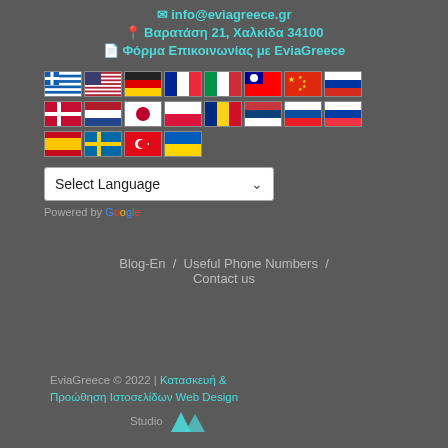info@eviagreece.gr
Βαρατάση 21, Χαλκίδα 34100
Φόρμα Επικοινωνίας με EviaGreece
[Figure (other): Grid of country flag icons: Greek, US, German, French, Italian, Taiwanese, Chinese, Russian, Danish, Dutch, Japanese, Polish, Romanian, Serbian, Slovak, Slovenian, Spanish, Swedish, Turkish, Ukrainian flags]
Select Language
Powered by Google
Blog-En  /  Useful Phone Numbers  /  Contact us
EviaGreece © 2022 | Κατασκευή & Προώθηση Ιστοσελίδων Web Design Studio